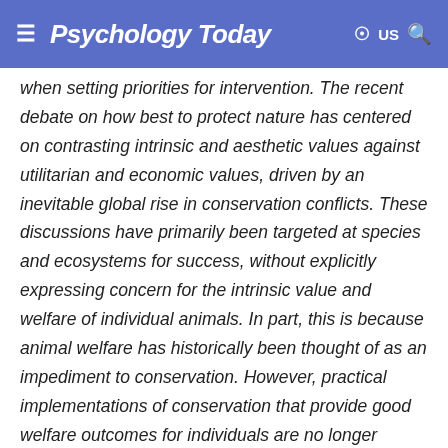Psychology Today   US
when setting priorities for intervention. The recent debate on how best to protect nature has centered on contrasting intrinsic and aesthetic values against utilitarian and economic values, driven by an inevitable global rise in conservation conflicts. These discussions have primarily been targeted at species and ecosystems for success, without explicitly expressing concern for the intrinsic value and welfare of individual animals. In part, this is because animal welfare has historically been thought of as an impediment to conservation. However, practical implementations of conservation that provide good welfare outcomes for individuals are no longer conceptually challenging; they have become